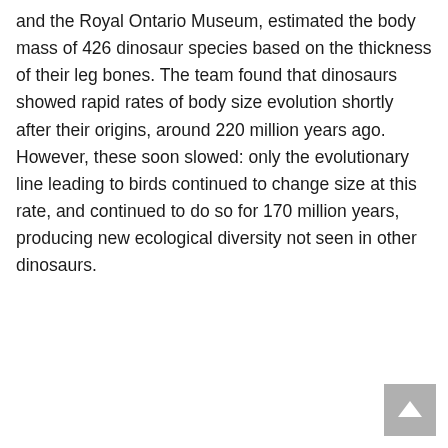and the Royal Ontario Museum, estimated the body mass of 426 dinosaur species based on the thickness of their leg bones. The team found that dinosaurs showed rapid rates of body size evolution shortly after their origins, around 220 million years ago. However, these soon slowed: only the evolutionary line leading to birds continued to change size at this rate, and continued to do so for 170 million years, producing new ecological diversity not seen in other dinosaurs.